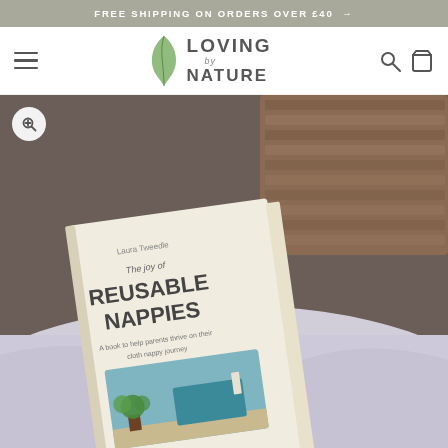FREE SHIPPING ON ORDERS OVER £40 →
[Figure (logo): Loving by Nature logo with a green leaf icon and bold text]
[Figure (photo): Product photo: a book titled 'The joy of Reusable Nappies' by Laura Tweedle, lying on white fabric near a wicker basket, with subtitle 'A book to help parents thrive on their cloth nappy journey']